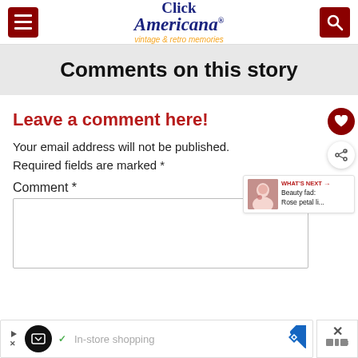Click Americana vintage & retro memories
Comments on this story
Leave a comment here!
Your email address will not be published. Required fields are marked *
Comment *
[Figure (screenshot): Comment text area input box]
[Figure (infographic): WHAT'S NEXT arrow label with thumbnail image and text: Beauty fad: Rose petal li...]
[Figure (screenshot): Advertisement bar: In-store shopping with navigation icon and close button]